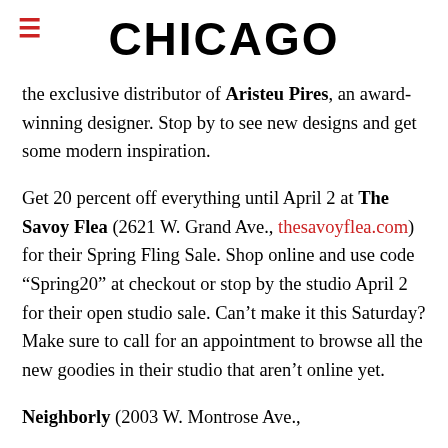CHICAGO
the exclusive distributor of Aristeu Pires, an award-winning designer. Stop by to see new designs and get some modern inspiration.
Get 20 percent off everything until April 2 at The Savoy Flea (2621 W. Grand Ave., thesavoyflea.com) for their Spring Fling Sale. Shop online and use code “Spring20” at checkout or stop by the studio April 2 for their open studio sale. Can’t make it this Saturday? Make sure to call for an appointment to browse all the new goodies in their studio that aren’t online yet.
Neighborly (2003 W. Montrose Ave.,